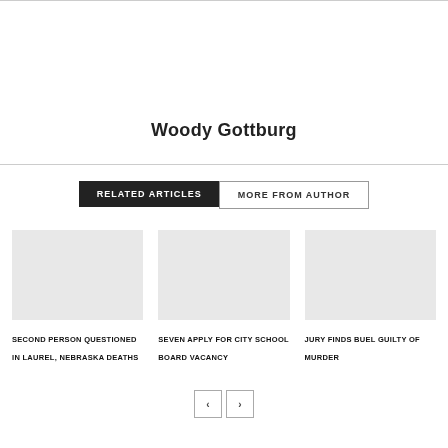Woody Gottburg
RELATED ARTICLES
MORE FROM AUTHOR
SECOND PERSON QUESTIONED IN LAUREL, NEBRASKA DEATHS
SEVEN APPLY FOR CITY SCHOOL BOARD VACANCY
JURY FINDS BUEL GUILTY OF MURDER